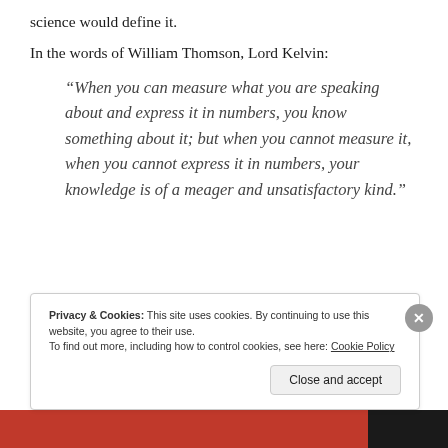science would define it.
In the words of William Thomson, Lord Kelvin:
“When you can measure what you are speaking about and express it in numbers, you know something about it; but when you cannot measure it, when you cannot express it in numbers, your knowledge is of a meager and unsatisfactory kind.”
Privacy & Cookies: This site uses cookies. By continuing to use this website, you agree to their use.
To find out more, including how to control cookies, see here: Cookie Policy
Close and accept